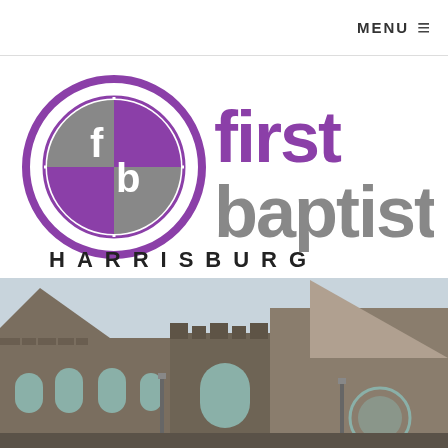MENU ≡
[Figure (logo): First Baptist Harrisburg logo: circular 'fb' emblem in purple and grey, with 'first' in purple bold text and 'baptist' in grey bold text, and 'HARRISBURG' in spaced dark caps below]
[Figure (photo): Exterior photo of First Baptist Church Harrisburg building, a stone Gothic-style church with castellated towers, pointed arch windows, and a steep roof, photographed from street level against a cloudy sky]